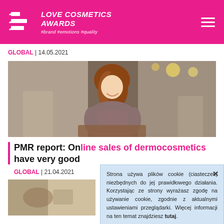LOVE COSMETICS AWARDS #brand #emotions #quality
GLOBAL | 14.05.2021
[Figure (photo): Woman with red/auburn hair smiling, sitting in a cafe-like setting, looking at a laptop or table surface]
PMR report: Online sales of dermocosmetics have very good
GLOBAL | 21.04.2021
[Figure (photo): Partial image of a scene, bottom left of page]
Strona używa plików cookie (ciasteczek) niezbędnych do jej prawidłowego działania. Korzystając ze strony wyrażasz zgodę na używanie cookie, zgodnie z aktualnymi ustawieniami przeglądarki. Więcej informacji na ten temat znajdziesz tutaj.